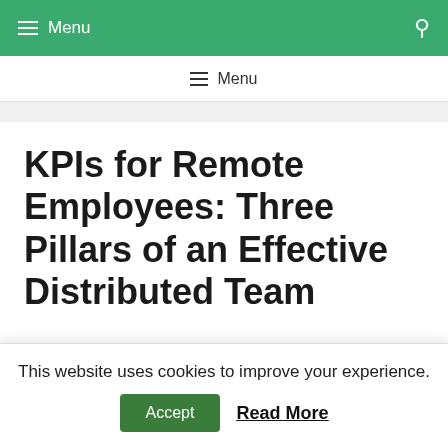Menu
Menu
KPIs for Remote Employees: Three Pillars of an Effective Distributed Team
An ability to hire and manage employees remotely is becoming a competitive
This website uses cookies to improve your experience. Accept Read More